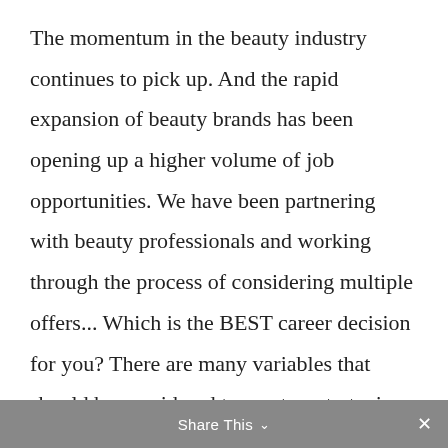The momentum in the beauty industry continues to pick up. And the rapid expansion of beauty brands has been opening up a higher volume of job opportunities. We have been partnering with beauty professionals and working through the process of considering multiple offers... Which is the BEST career decision for you? There are many variables that should be considered to create a strategic career move and we have outlined factors for you to consider to choose an opportunity that will truly elevate your career progression.
Share This ∨  ×